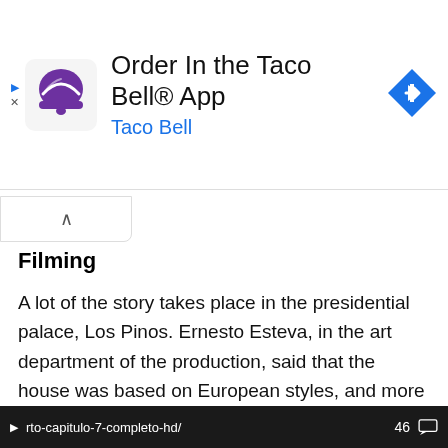[Figure (other): Taco Bell app advertisement banner with Taco Bell logo, text 'Order In the Taco Bell® App', subtitle 'Taco Bell' in blue, and a blue navigation arrow icon on the right]
Filming
A lot of the story takes place in the presidential palace, Los Pinos. Ernesto Esteva, in the art department of the production, said that the house was based on European styles, and more
rto-capitulo-7-completo-hd/   46